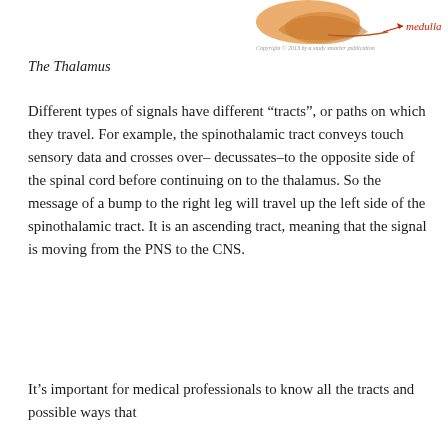[Figure (illustration): Partial anatomical illustration of a brain stem / medulla region, colored in orange/tan tones, with a red arrow pointing to a labeled structure. Label reads 'medulla' in red italic text.]
The Thalamus
Different types of signals have different “tracts”, or paths on which they travel. For example, the spinothalamic tract conveys touch sensory data and crosses over–decussates–to the opposite side of the spinal cord before continuing on to the thalamus. So the message of a bump to the right leg will travel up the left side of the spinothalamic tract. It is an ascending tract, meaning that the signal is moving from the PNS to the CNS.
It’s important for medical professionals to know all the tracts and possible ways that